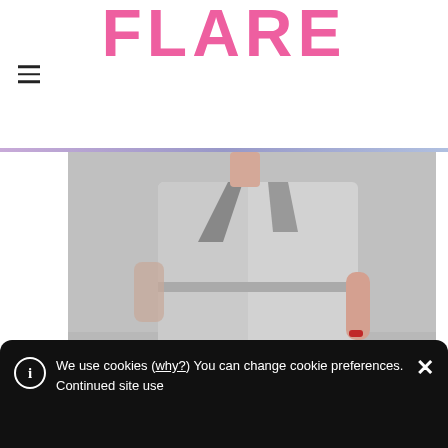FLARE
[Figure (photo): Fashion runway photo showing a model wearing a grey belted coat/vest by Yves Saint Laurent, with red-painted nails visible on her right hand.]
Yves Saint Laurent
BELTED VEST
CLASSIC TRENCH
COLOURFUL DRESS
DRAPED SHORT
We use cookies (why?) You can change cookie preferences. Continued site use